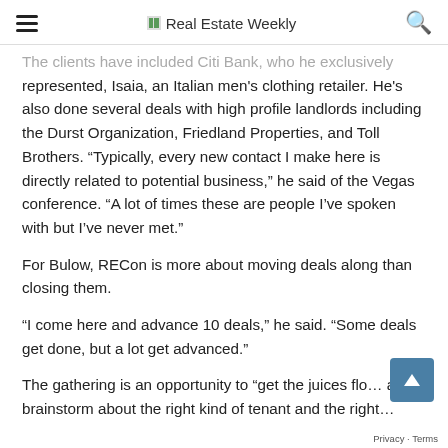Real Estate Weekly
The clients have included Citi Bank, who he exclusively represented, Isaia, an Italian men's clothing retailer. He's also done several deals with high profile landlords including the Durst Organization, Friedland Properties, and Toll Brothers. "Typically, every new contact I make here is directly related to potential business," he said of the Vegas conference. "A lot of times these are people I've spoken with but I've never met."
For Bulow, RECon is more about moving deals along than closing them.
"I come here and advance 10 deals," he said. "Some deals get done, but a lot get advanced."
The gathering is an opportunity to “get the juices flo… and brainstorm about the right kind of tenant and the right…